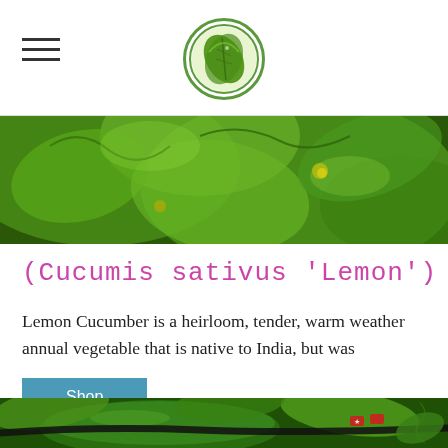[Figure (logo): Circular green logo with leaf/plant design]
[Figure (photo): Close-up photo of green cucumber plant leaves and vines with yellow flowers]
(Cucumis sativus 'Lemon')
Lemon Cucumber is a heirloom, tender, warm weather annual vegetable that is native to India, but was
[Figure (other): Shop button - teal/blue rectangular button with text 'Shop']
[Figure (photo): Close-up photo of dark green cucumbers growing on vines with red clips and black drip irrigation tubing, green leaves visible]